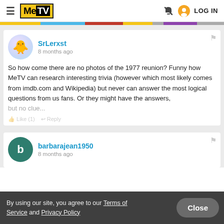MeTV — LOG IN
SrLerxst
8 months ago
So how come there are no photos of the 1977 reunion? Funny how MeTV can research interesting trivia (however which most likely comes from imdb.com and Wikipedia) but never can answer the most logical questions from us fans. Or they might have the answers, but no clue...
By using our site, you agree to our Terms of Service and Privacy Policy
barbarajean1950
8 months ago